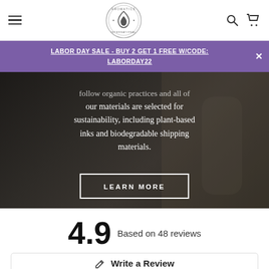Aromatics International — navigation header with hamburger menu, logo, search and cart icons
LABOR DAY SALE - BUY 2 GET 1 FREE W/CODE: LABORDAY22
[Figure (photo): Dark background hero image showing lavender/plant material with white overlay text partially visible: 'follow organic practices and all of our materials are selected for sustainability, including plant-based inks and biodegradable shipping materials.' and a LEARN MORE button]
follow organic practices and all of our materials are selected for sustainability, including plant-based inks and biodegradable shipping materials.
LEARN MORE
4.9 Based on 48 reviews
Write a Review